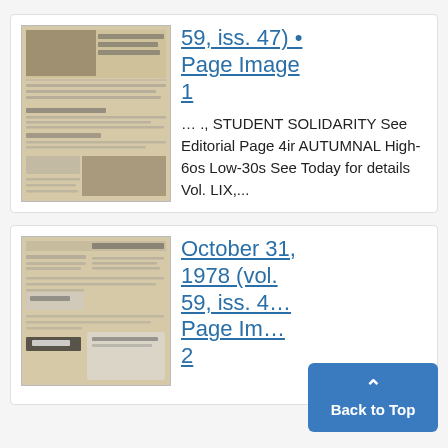[Figure (photo): Thumbnail image of a newspaper front page, sepia/grey tone, showing headlines including 'Carter under pressure as dollar drops', 'Farm Bureau: PBB worthless', 'Congressional rivals debate']
59, iss. 47) • Page Image 1
… ., STUDENT SOLIDARITY See Editorial Page 4ir AUTUMNAL High-6os Low-30s See Today for details Vol. LIX,...
[Figure (photo): Thumbnail image of a second newspaper front page, sepia/grey tone, showing headline 'Griffin, Levin campaign a 'hoax'', and a Dominos advertisement with 'FREE YEARBOOK']
October 31, 1978 (vol. 59, iss. 4… Page Im… 2
Back to Top